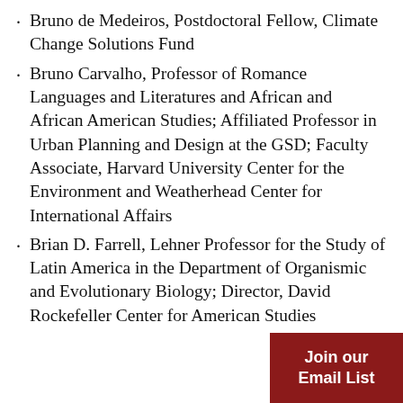Bruno de Medeiros, Postdoctoral Fellow, Climate Change Solutions Fund
Bruno Carvalho, Professor of Romance Languages and Literatures and African and African American Studies; Affiliated Professor in Urban Planning and Design at the GSD; Faculty Associate, Harvard University Center for the Environment and Weatherhead Center for International Affairs
Brian D. Farrell, Lehner Professor for the Study of Latin America in the Department of Organismic and Evolutionary Biology; Director, David Rockefeller Center for American Studies
Join our Email List